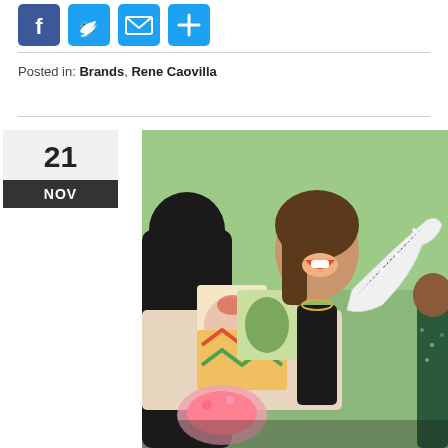[Figure (infographic): Social sharing icons: Facebook (blue f), Twitter (blue bird), Email (blue envelope), Share/Plus (blue plus)]
Posted in: Brands, Rene Caovilla
21 NOV
[Figure (photo): A woman laughing on a couch holding a sparkly white high-heel shoe, with colorful patterned pillows and a green-lit background. Another person in a sequined dress is partially visible on the right.]